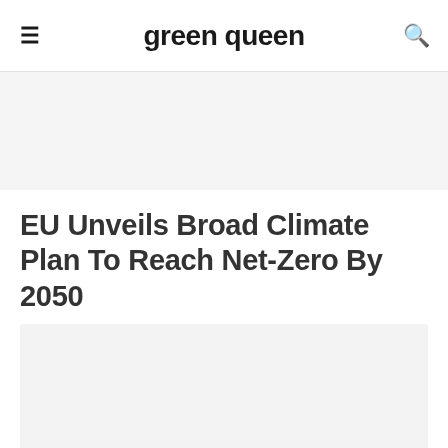green queen
[Figure (other): Advertisement banner placeholder, light gray background]
EU Unveils Broad Climate Plan To Reach Net-Zero By 2050
[Figure (photo): Article hero image placeholder, light gray background]